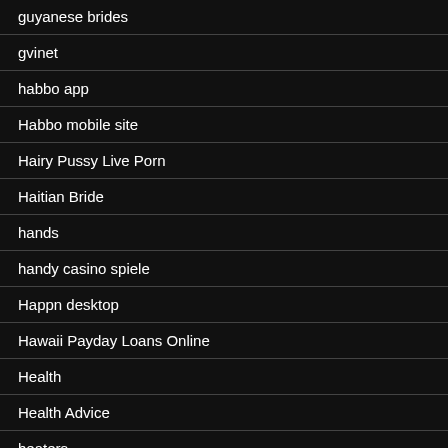guyanese brides
gvinet
habbo app
Habbo mobile site
Hairy Pussy Live Porn
Haitian Bride
hands
handy casino spiele
Happn desktop
Hawaii Payday Loans Online
Health
Health Advice
heaters